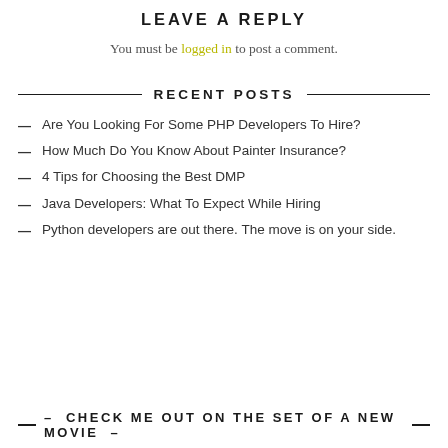LEAVE A REPLY
You must be logged in to post a comment.
RECENT POSTS
Are You Looking For Some PHP Developers To Hire?
How Much Do You Know About Painter Insurance?
4 Tips for Choosing the Best DMP
Java Developers: What To Expect While Hiring
Python developers are out there. The move is on your side.
– CHECK ME OUT ON THE SET OF A NEW MOVIE –